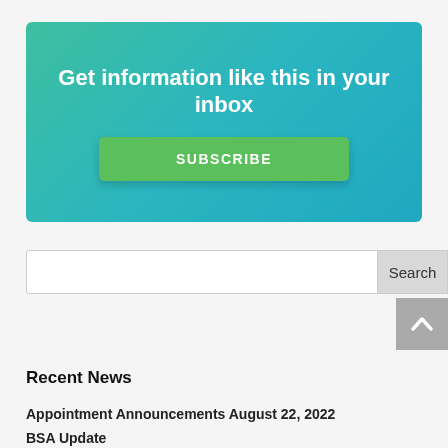[Figure (infographic): Teal gradient banner with white bold text 'Get information like this in your inbox' and a green SUBSCRIBE button]
Search
Recent News
Appointment Announcements August 22, 2022
BSA Update